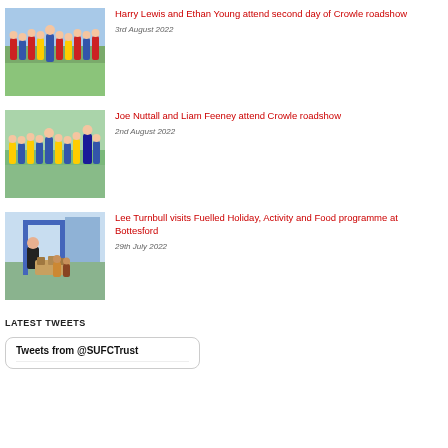[Figure (photo): Group photo of children in football kits outdoors]
Harry Lewis and Ethan Young attend second day of Crowle roadshow
3rd August 2022
[Figure (photo): Group photo of children in football kits with coaches outdoors]
Joe Nuttall and Liam Feeney attend Crowle roadshow
2nd August 2022
[Figure (photo): Man distributing food bags to children at an outdoor sports facility]
Lee Turnbull visits Fuelled Holiday, Activity and Food programme at Bottesford
29th July 2022
LATEST TWEETS
Tweets from @SUFCTrust